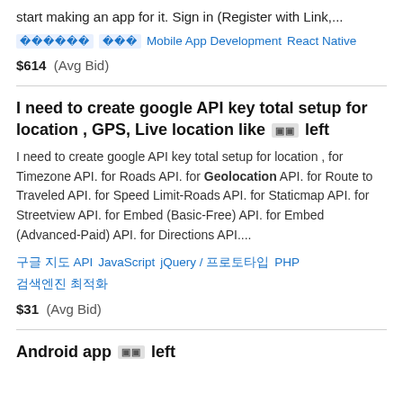start making an app for it. Sign in (Register with Link,...
Mobile App Development   React Native
$614  (Avg Bid)
I need to create google API key total setup for location , GPS, Live location like  [icon] left
I need to create google API key total setup for location , for Timezone API. for Roads API. for Geolocation API. for Route to Traveled API. for Speed Limit-Roads API. for Staticmap API. for Streetview API. for Embed (Basic-Free) API. for Embed (Advanced-Paid) API. for Directions API....
구글 지도 API   JavaScript   jQuery / 프로토타입   PHP   검색엔진 최적화
$31  (Avg Bid)
Android app  [icon] left